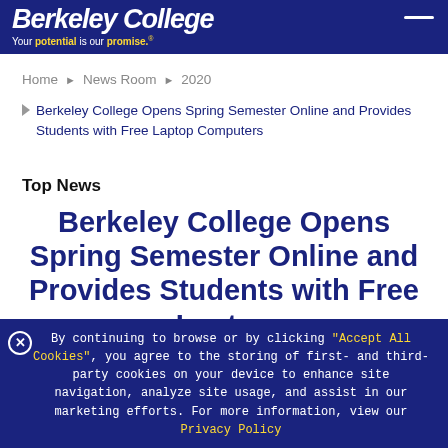Your potential is our promise.
Home > News Room > 2020
Berkeley College Opens Spring Semester Online and Provides Students with Free Laptop Computers
Top News
Berkeley College Opens Spring Semester Online and Provides Students with Free Laptop
By continuing to browse or by clicking "Accept All Cookies", you agree to the storing of first- and third-party cookies on your device to enhance site navigation, analyze site usage, and assist in our marketing efforts. For more information, view our Privacy Policy